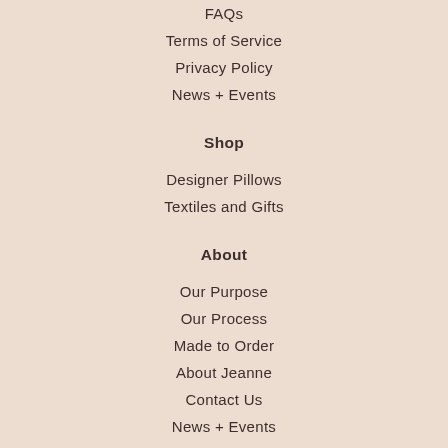FAQs
Terms of Service
Privacy Policy
News + Events
Shop
Designer Pillows
Textiles and Gifts
About
Our Purpose
Our Process
Made to Order
About Jeanne
Contact Us
News + Events